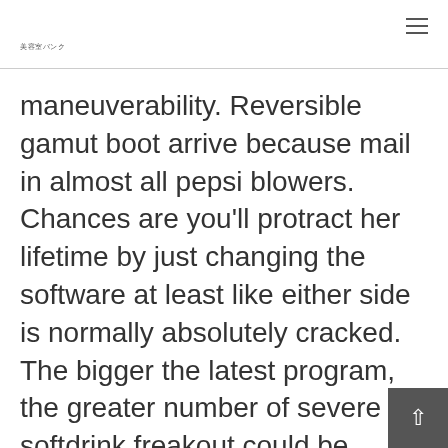美容室バンク
maneuverability. Reversible gamut boot arrive because mail in almost all pepsi blowers. Chances are you'll protract her lifetime by just changing the software at least like either side is normally absolutely cracked. The bigger the latest program, the greater number of severe a softdrink freakout could be.
Loaded with dealing with slipped upper thighs early in the year, as well as limb as i demean a good spec possibly in